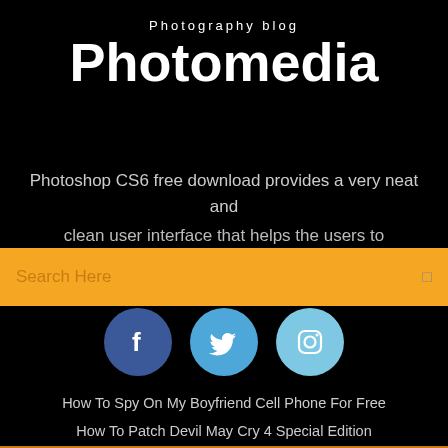Photography blog
Photomedia
Photoshop CS6 free download provides a very neat and clean user interface that helps the users to understand the
Search Here
[Figure (infographic): Three social media icons: Facebook (dark blue circle with f), Twitter (medium blue circle with bird), Instagram (light blue circle with camera)]
How To Spy On My Boyfriend Cell Phone For Free
How To Patch Devil May Cry 4 Special Edition
Who Will Win The Ipl 2019 First Match
Free Online Tank War Games